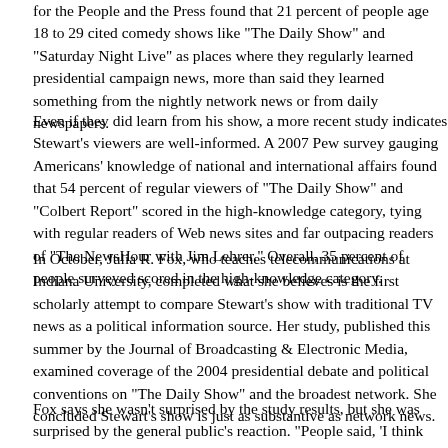for the People and the Press found that 21 percent of people age 18 to 29 cited comedy shows like "The Daily Show" and "Saturday Night Live" as places where they regularly learned presidential campaign news, more than said they learned something from the nightly network news or from daily newspapers.
Even if they did learn from his show, a more recent study indicates Stewart's viewers are well-informed. A 2007 Pew survey gauging Americans' knowledge of national and international affairs found that 54 percent of regular viewers of "The Daily Show" and "Colbert Report" scored in the high-knowledge category, tying with regular readers of Web news sites and far outpacing readers of "The NewsHour with Jim Lehrer." Overall, 35 percent of people surveyed scored in the high-knowledge category.
In October, Julia R. Fox, who teaches telecommunications at Indiana University, completed what she believes is the first scholarly attempt to compare Stewart's show with traditional TV news as a political information source. Her study, published this summer by the Journal of Broadcasting & Electronic Media, examined coverage of the 2004 presidential debate and political conventions on "The Daily Show" and the broadcast networks. She concluded Stewart's show is just as substantive as network news.
Fox says she wasn't surprised by the study results, but she was surprised by the general public's reaction. "People said, 'I think you're absolutely wrong. I think 'The Daily Show' is more substantive'
Beyond the debate over whether Stewart's show is a quality source of information, there's little doubt that the media have treated him with admiration bordering on reverence. In early 2005, Stewart was approached about anchoring the "CBS Evening News," which, like Comedy Central, was then owned by Viacom. Dan Rather had announced his retirement following revelations that alleged memos about President Bush's National Guard service were bogus. CBS chief Leslie Moonves said he wanted to reinvent the evening news to make it more appealing to viewers under 35. Asked at a news conference whether he'd rule out a role for Stewart, Moonve